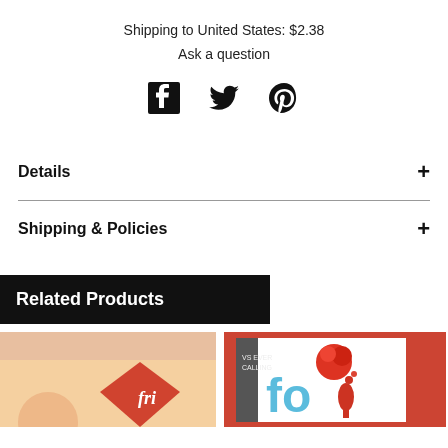Shipping to United States: $2.38
Ask a question
[Figure (illustration): Social media icons: Facebook, Twitter, Pinterest]
Details +
Shipping & Policies +
Related Products
[Figure (photo): Left product thumbnail - peach/wood background with graphic]
[Figure (photo): Right product thumbnail - coral/red background with white card showing colorful typographic design]